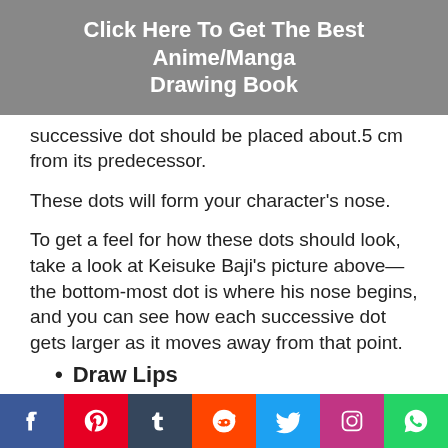Click Here To Get The Best Anime/Manga Drawing Book
successive dot should be placed about.5 cm from its predecessor.
These dots will form your character's nose.
To get a feel for how these dots should look, take a look at Keisuke Baji's picture above—the bottom-most dot is where his nose begins, and you can see how each successive dot gets larger as it moves away from that point.
Draw Lips
Social share bar: Facebook, Pinterest, Tumblr, Reddit, Twitter, Instagram, WhatsApp